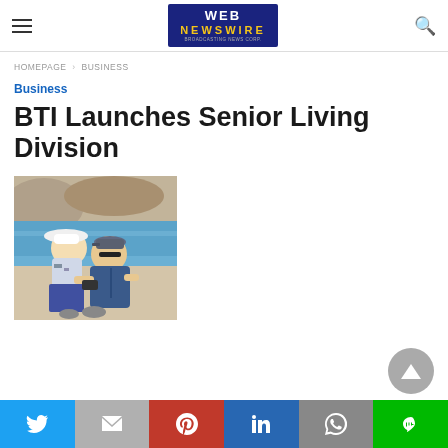WEB NEWSWIRE
HOMEPAGE > BUSINESS
Business
BTI Launches Senior Living Division
[Figure (photo): Elderly couple seated outdoors near water; woman in white hat and floral blouse, man in cap and blue shirt]
Twitter | Gmail | Pinterest | LinkedIn | WhatsApp | Line